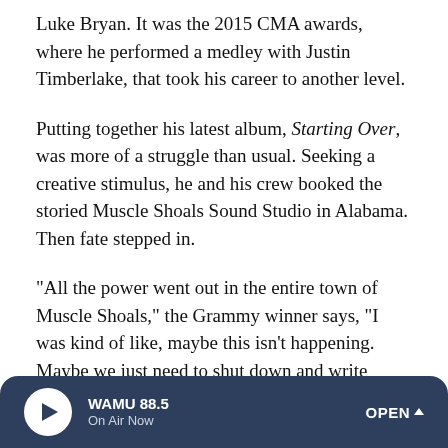Luke Bryan. It was the 2015 CMA awards, where he performed a medley with Justin Timberlake, that took his career to another level.
Putting together his latest album, Starting Over, was more of a struggle than usual. Seeking a creative stimulus, he and his crew booked the storied Muscle Shoals Sound Studio in Alabama. Then fate stepped in.
"All the power went out in the entire town of Muscle Shoals," the Grammy winner says, "I was kind of like, maybe this isn't happening. Maybe we just need to shut down and write some more, live some more, tour some more. And that's what we did."
WAMU 88.5 On Air Now OPEN